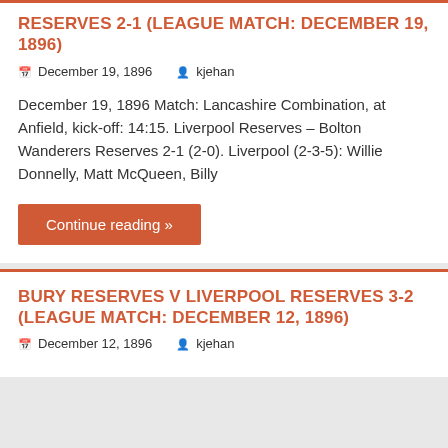RESERVES 2-1 (LEAGUE MATCH: DECEMBER 19, 1896)
December 19, 1896   kjehan
December 19, 1896 Match: Lancashire Combination, at Anfield, kick-off: 14:15. Liverpool Reserves – Bolton Wanderers Reserves 2-1 (2-0). Liverpool (2-3-5): Willie Donnelly, Matt McQueen, Billy
Continue reading »
BURY RESERVES V LIVERPOOL RESERVES 3-2 (LEAGUE MATCH: DECEMBER 12, 1896)
December 12, 1896   kjehan